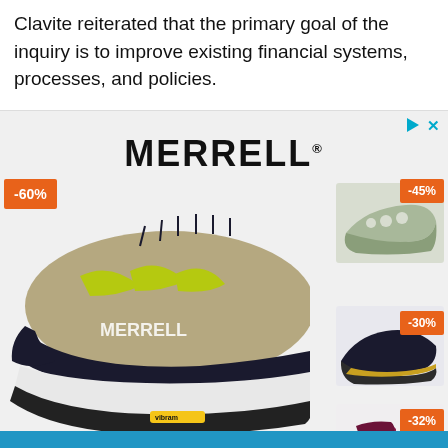Clavite reiterated that the primary goal of the inquiry is to improve existing financial systems, processes, and policies.
[Figure (photo): Merrell brand advertisement showing a large tan/olive trail running shoe with yellow-green accents labeled MERRELL with -60% discount badge. Three smaller shoes on the right side with -45%, -30%, and -32% discount badges respectively.]